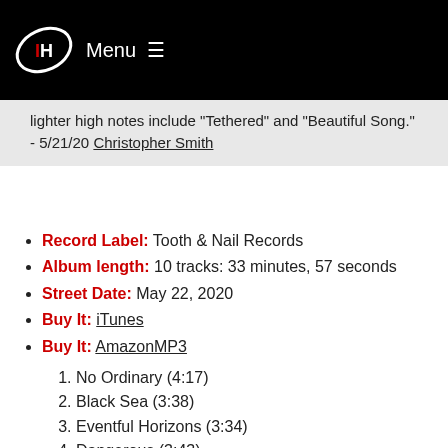Menu
lighter high notes include "Tethered" and "Beautiful Song." - 5/21/20 Christopher Smith
Record Label: Tooth & Nail Records
Album length: 10 tracks: 33 minutes, 57 seconds
Street Date: May 22, 2020
Buy It: iTunes
Buy It: AmazonMP3
1. No Ordinary (4:17)
2. Black Sea (3:38)
3. Eventful Horizons (3:34)
4. Dangerous (3:43)
5. Tethered (3:28)
6. Closer & Farther (2:41)